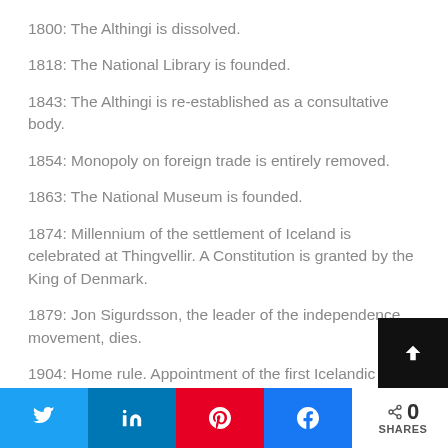1800: The Althingi is dissolved.
1818: The National Library is founded.
1843: The Althingi is re-established as a consultative body.
1854: Monopoly on foreign trade is entirely removed.
1863: The National Museum is founded.
1874: Millennium of the settlement of Iceland is celebrated at Thingvellir. A Constitution is granted by the King of Denmark.
1879: Jon Sigurdsson, the leader of the independence movement, dies.
1904: Home rule. Appointment of the first Icelandic
0 SHARES